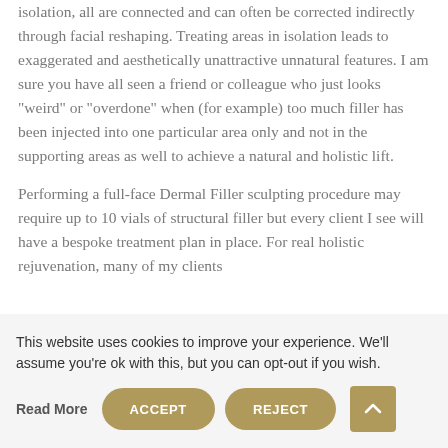isolation, all are connected and can often be corrected indirectly through facial reshaping. Treating areas in isolation leads to exaggerated and aesthetically unattractive unnatural features. I am sure you have all seen a friend or colleague who just looks "weird" or "overdone" when (for example) too much filler has been injected into one particular area only and not in the supporting areas as well to achieve a natural and holistic lift.

Performing a full-face Dermal Filler sculpting procedure may require up to 10 vials of structural filler but every client I see will have a bespoke treatment plan in place. For real holistic rejuvenation, many of my clients
This website uses cookies to improve your experience. We'll assume you're ok with this, but you can opt-out if you wish.